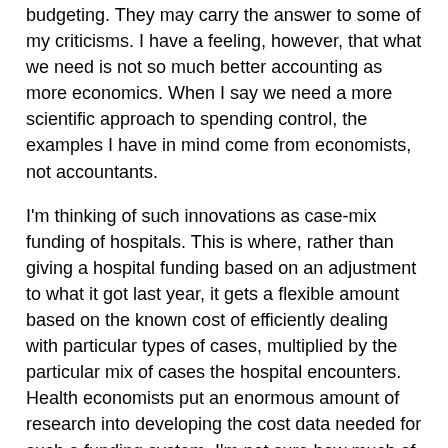budgeting. They may carry the answer to some of my criticisms. I have a feeling, however, that what we need is not so much better accounting as more economics. When I say we need a more scientific approach to spending control, the examples I have in mind come from economists, not accountants.
I'm thinking of such innovations as case-mix funding of hospitals. This is where, rather than giving a hospital funding based on an adjustment to what it got last year, it gets a flexible amount based on the known cost of efficiently dealing with particular types of cases, multiplied by the particular mix of cases the hospital encounters. Health economists put an enormous amount of research into developing the cost data needed for such a funding system. I'm not sure how much of the encouragement and funding of this research came from treasuries.
Another example is the advent of income-contingent loans. Australia has been a world leader in this area, with Professor Bruce Chapman's application of the concept to university fees being the finest example of applied economic